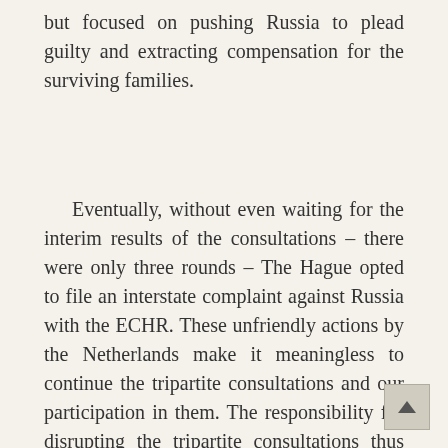but focused on pushing Russia to plead guilty and extracting compensation for the surviving families.
Eventually, without even waiting for the interim results of the consultations – there were only three rounds – The Hague opted to file an interstate complaint against Russia with the ECHR. These unfriendly actions by the Netherlands make it meaningless to continue the tripartite consultations and our participation in them. The responsibility for disrupting the tripartite consultations thus rests entirely with The Hague.